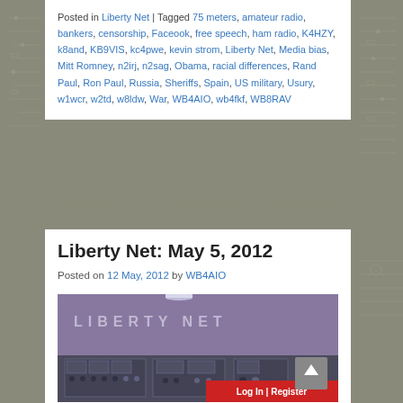Posted in Liberty Net | Tagged 75 meters, amateur radio, bankers, censorship, Faceook, free speech, ham radio, K4HZY, k8and, KB9VIS, kc4pwe, kevin strom, Liberty Net, Media bias, Mitt Romney, n2irj, n2sag, Obama, racial differences, Rand Paul, Ron Paul, Russia, Sheriffs, Spain, US military, Usury, w1wcr, w2td, w8ldw, War, WB4AIO, wb4fkf, WB8RAV
[Figure (photo): Background schematic/circuit diagram visible on left and right sides of page]
Liberty Net: May 5, 2012
Posted on 12 May, 2012 by WB4AIO
[Figure (photo): Black and white photo of a radio control room with 'LIBERTY NET' sign on wall and radio consoles/equipment panels in the foreground]